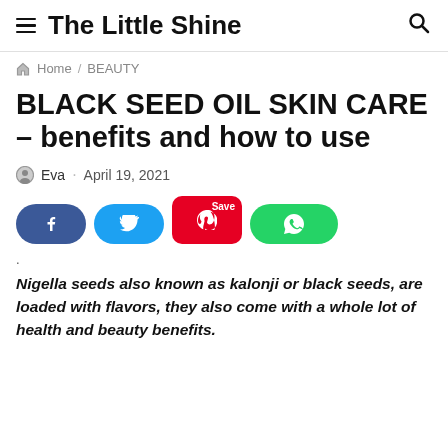The Little Shine
Home / BEAUTY
BLACK SEED OIL SKIN CARE – benefits and how to use
Eva · April 19, 2021
[Figure (other): Social share buttons: Facebook, Twitter, Pinterest (Save), WhatsApp]
.
Nigella seeds also known as kalonji or black seeds, are loaded with flavors, they also come with a whole lot of health and beauty benefits.